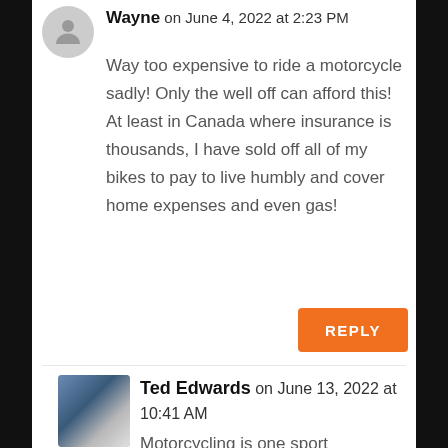Wayne on June 4, 2022 at 2:23 PM
Way too expensive to ride a motorcycle sadly! Only the well off can afford this! At least in Canada where insurance is thousands, I have sold off all of my bikes to pay to live humbly and cover home expenses and even gas!
REPLY
Ted Edwards on June 13, 2022 at 10:41 AM
Motorcycling is one sport